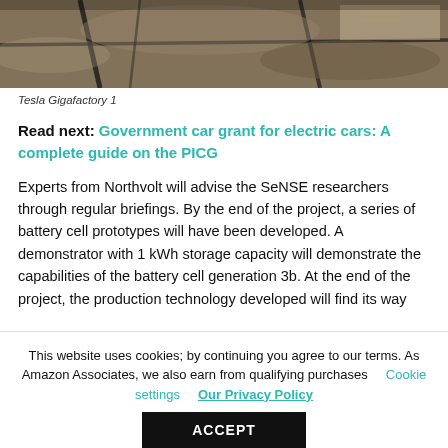[Figure (photo): Aerial view of Tesla Gigafactory 1, showing brown desert terrain with roads and a large industrial complex structure visible from above.]
Tesla Gigafactory 1
Read next: Government car grant for electric cars: A complete guide on the PICG
Experts from Northvolt will advise the SeNSE researchers through regular briefings. By the end of the project, a series of battery cell prototypes will have been developed. A demonstrator with 1 kWh storage capacity will demonstrate the capabilities of the battery cell generation 3b. At the end of the project, the production technology developed will find its way...
This website uses cookies; by continuing you agree to our terms. As Amazon Associates, we also earn from qualifying purchases    Cookie settings    Our Privacy Policy    ACCEPT